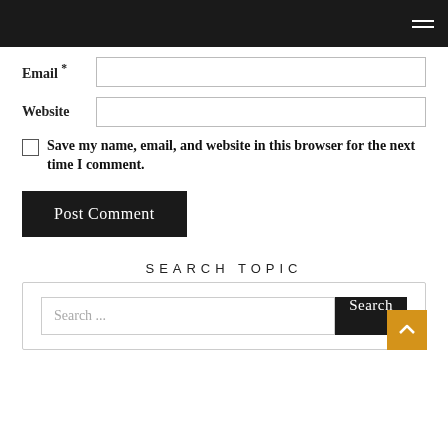Navigation header bar with hamburger menu
Email *
Website
Save my name, email, and website in this browser for the next time I comment.
Post Comment
SEARCH TOPIC
Search ...